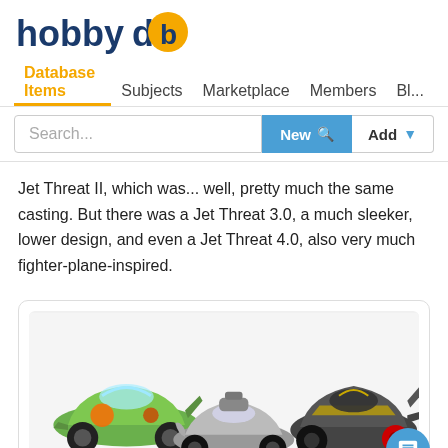hobbydb — Database Items | Subjects | Marketplace | Members | Blo...
Jet Threat II, which was... well, pretty much the same casting. But there was a Jet Threat 3.0, a much sleeker, lower design, and even a Jet Threat 4.0, also very much fighter-plane-inspired.
[Figure (photo): Three Hot Wheels die-cast cars displayed side by side: a green Jet Threat Original/II on the left, a silver Jet Threat 3.0 in the middle, and a dark Jet Threat 4.0 on the right.]
Jet Threat Original/II, 3.0, 4.0